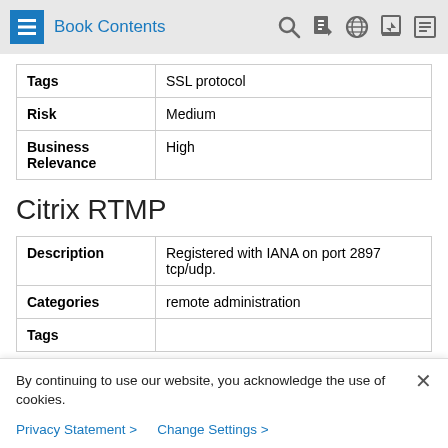Book Contents
| Field | Value |
| --- | --- |
| Tags | SSL protocol |
| Risk | Medium |
| Business Relevance | High |
Citrix RTMP
| Field | Value |
| --- | --- |
| Description | Registered with IANA on port 2897 tcp/udp. |
| Categories | remote administration |
| Tags |  |
By continuing to use our website, you acknowledge the use of cookies.
Privacy Statement >   Change Settings >